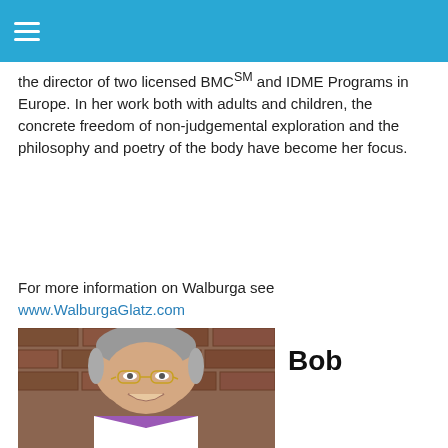the director of two licensed BMC℠ and IDME Programs in Europe. In her work both with adults and children, the concrete freedom of non-judgemental exploration and the philosophy and poetry of the body have become her focus.
For more information on Walburga see
www.WalburgaGlatz.com
[Figure (photo): Headshot of a smiling older man with grey hair and glasses, wearing a white jacket and purple shirt, in front of a brick wall]
Bob